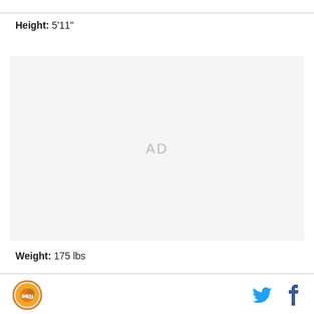Height: 5'11"
[Figure (other): Advertisement placeholder box with 'AD' text in center]
Weight: 175 lbs
Logo, Twitter icon, Facebook icon